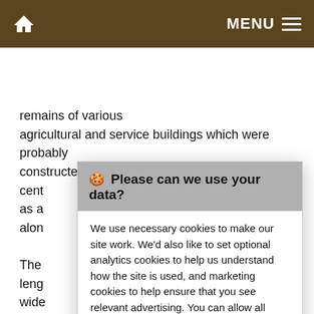Home | MENU
remains of various agricultural and service buildings which were probably constructed in the 15th cent as a alon
The leng wide have gran up t and wes in le and is divided internally by two cross walls. At the northern end is the base of
🍪 Please can we use your data?
We use necessary cookies to make our site work. We'd also like to set optional analytics cookies to help us understand how the site is used, and marketing cookies to help ensure that you see relevant advertising. You can allow all cookies or manage them individually. More information
Accept Cookies | Customise Cookies